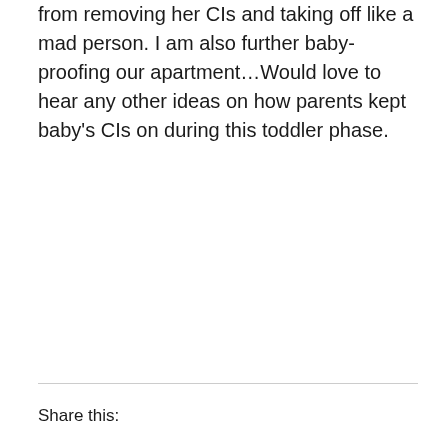from removing her CIs and taking off like a mad person. I am also further baby-proofing our apartment…Would love to hear any other ideas on how parents kept baby's CIs on during this toddler phase.
Share this: